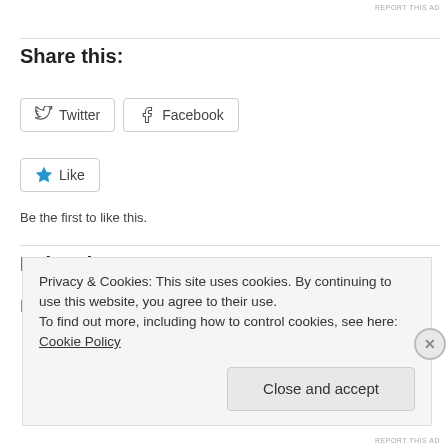REPORT THIS AD
Share this:
Twitter
Facebook
Like
Be the first to like this.
Related
Equal citizenry under the 14th Amendment
Privacy & Cookies: This site uses cookies. By continuing to use this website, you agree to their use.
To find out more, including how to control cookies, see here: Cookie Policy
Close and accept
REPORT THIS AD